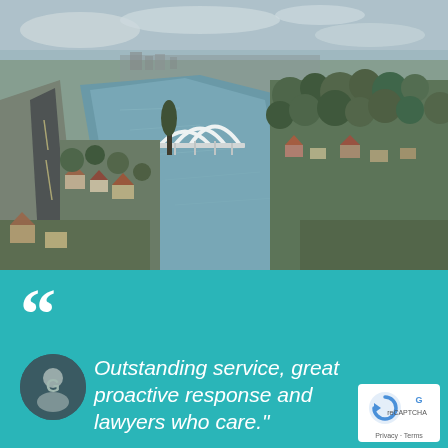[Figure (photo): Aerial drone photograph of a city with a river running through it, a white arch bridge visible in the middle distance, residential suburbs with trees on both sides of the river, and a main road on the left.]
““
Outstanding service, great proactive response and lawyers who care."